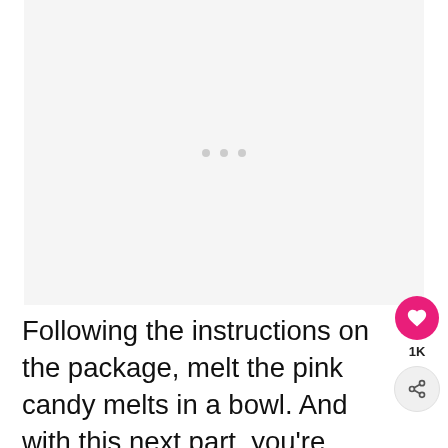[Figure (photo): Light gray placeholder image area with three small gray dots in the center, indicating an image slideshow or loading state.]
Following the instructions on the package, melt the pink candy melts in a bowl. And with this next part, you’re going to want to try not to burn yourself: Use a fork to drizzle the pink